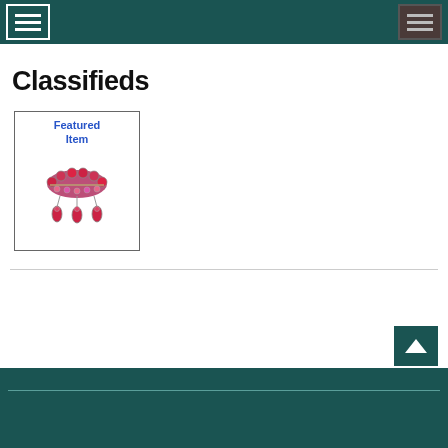Menu navigation header bar with two menu icons
Classifieds
[Figure (photo): A featured item box with blue 'Featured Item' label and photo of a red rhinestone brooch with dangling teardrop crystals]
Footer bar with horizontal divider line and back-to-top button